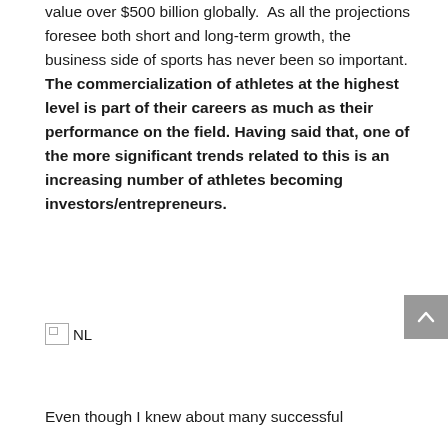value over $500 billion globally. As all the projections foresee both short and long-term growth, the business side of sports has never been so important. The commercialization of athletes at the highest level is part of their careers as much as their performance on the field. Having said that, one of the more significant trends related to this is an increasing number of athletes becoming investors/entrepreneurs.
[Figure (other): Broken image icon labeled NL]
Even though I knew about many successful